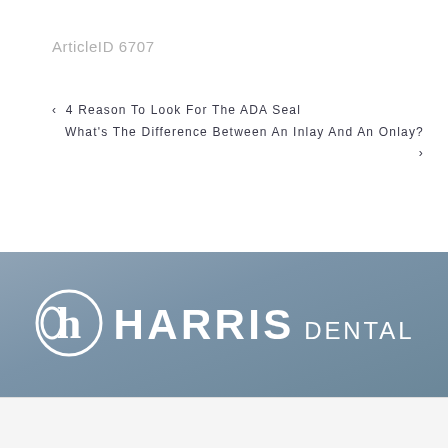ArticleID 6707
◂ 4 Reason To Look For The ADA Seal
What's The Difference Between An Inlay And An Onlay? ▸
[Figure (logo): Harris Dental logo with stylized 'h' icon in white on slate blue background]
Accept and Close ✕
Your browser settings do not allow cross-site tracking for advertising. Click on this page to allow AdRoll to use cross-site tracking to tailor ads to you. Learn more or opt out of this AdRoll tracking by clicking here. This message only appears once.